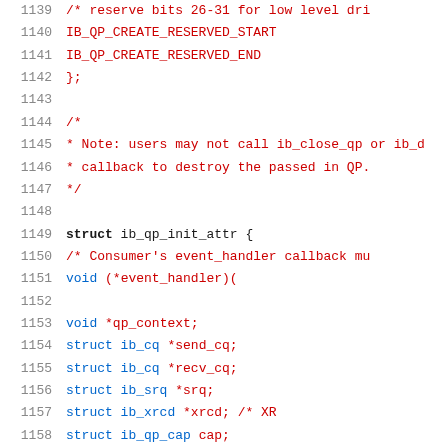Source code listing lines 1139-1160, struct ib_qp_init_attr definition in C
1139: /* reserve bits 26-31 for low level dr...
1140:     IB_QP_CREATE_RESERVED_START
1141:     IB_QP_CREATE_RESERVED_END
1142: };
1143:
1144: /*
1145:  * Note: users may not call ib_close_qp or ib_d...
1146:  * callback to destroy the passed in QP.
1147:  */
1148:
1149: struct ib_qp_init_attr {
1150:     /* Consumer's event_handler callback mu...
1151:     void                    (*event_handler)(
1152:
1153:     void                    *qp_context;
1154:     struct ib_cq            *send_cq;
1155:     struct ib_cq            *recv_cq;
1156:     struct ib_srq           *srq;
1157:     struct ib_xrcd          *xrcd;    /* XR...
1158:     struct ib_qp_cap        cap;
1159:     enum ib_sig_type        sq_sig_type;
1160:     enum ib_qp_type         qp_type;